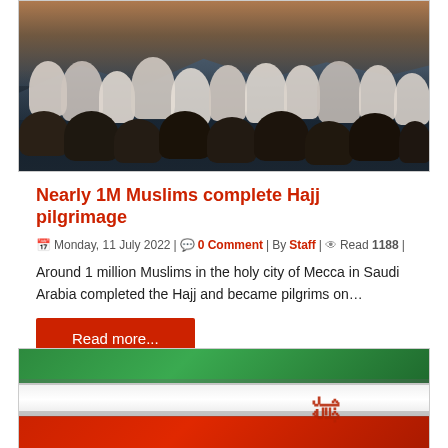[Figure (photo): Pilgrims in white robes gathered at Hajj, shot at dusk with mountain backdrop]
Nearly 1M Muslims complete Hajj pilgrimage
Monday, 11 July 2022 | 0 Comment | By Staff | Read 1188 |
Around 1 million Muslims in the holy city of Mecca in Saudi Arabia completed the Hajj and became pilgrims on…
Read more...
[Figure (photo): Iranian flag waving, showing green, white and red stripes with emblem]